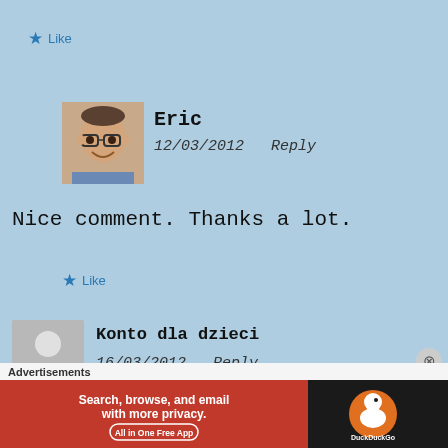★ Like
[Figure (photo): Profile photo of a man named Eric wearing glasses]
Eric
12/03/2012  Reply
Nice comment. Thanks a lot.
★ Like
[Figure (illustration): Generic grey silhouette avatar placeholder]
Konto dla dzieci
16/03/2012  Reply
Advertisements
[Figure (screenshot): DuckDuckGo advertisement banner: Search, browse, and email with more privacy. All in One Free App]